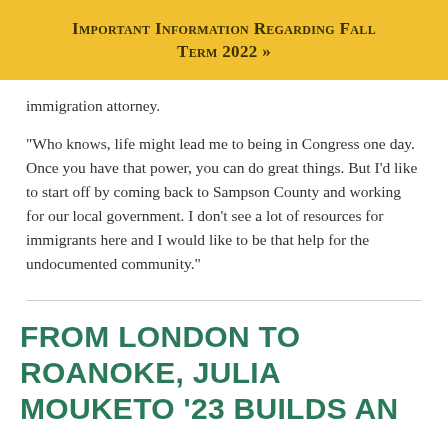Important Information Regarding Fall Term 2022 »
immigration attorney.
“Who knows, life might lead me to being in Congress one day. Once you have that power, you can do great things. But I’d like to start off by coming back to Sampson County and working for our local government. I don’t see a lot of resources for immigrants here and I would like to be that help for the undocumented community.”
FROM LONDON TO ROANOKE, JULIA MOUKETO ’23 BUILDS AN